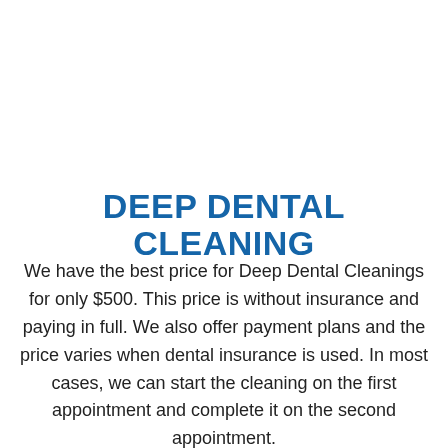DEEP DENTAL CLEANING
We have the best price for Deep Dental Cleanings for only $500. This price is without insurance and paying in full. We also offer payment plans and the price varies when dental insurance is used. In most cases, we can start the cleaning on the first appointment and complete it on the second appointment.